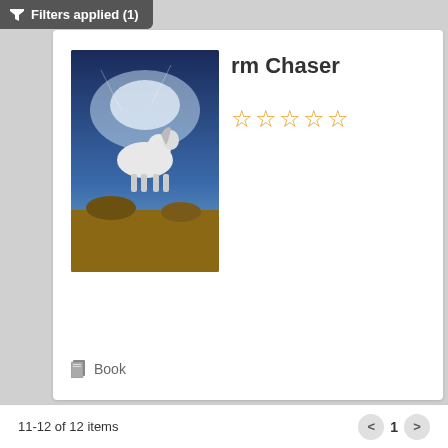Filters applied (1)
[Figure (illustration): Book cover for a fantasy book partially visible, showing a white horse in a stormy sky scene]
rm Chaser
☆☆☆☆☆ (star rating, 5 empty stars)
Book
[Figure (illustration): Book cover for 'The Brilliant Fall of Gianna Z' showing a child with leaves falling around them]
The Brilliant Fall of Gianna Z
☆☆☆☆☆ (star rating, 5 empty stars)
Book
11-12 of 12 items   < 1 >